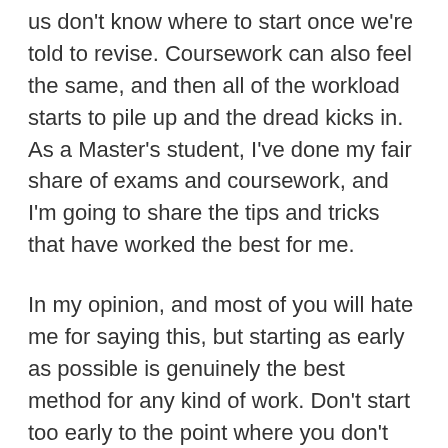us don't know where to start once we're told to revise. Coursework can also feel the same, and then all of the workload starts to pile up and the dread kicks in. As a Master's student, I've done my fair share of exams and coursework, and I'm going to share the tips and tricks that have worked the best for me.
In my opinion, and most of you will hate me for saying this, but starting as early as possible is genuinely the best method for any kind of work. Don't start too early to the point where you don't know enough to properly start work, but it's worthwhile brainstorming ideas once you find a topic that you're interested in. If you